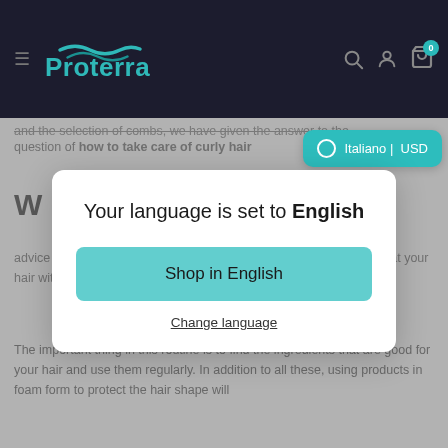[Figure (screenshot): Proterra website header with dark background, teal wave logo, hamburger menu, search, account, and cart icons with badge showing 0]
and the selection of combs, we have given the answer to the question of how to take care of curly hair
[Figure (screenshot): Language selector bubble showing 'Italiano | USD' in teal with circle icon and chevron up arrow]
W
advice we give you don't need to use a ton of product. You can look at your hair with a small but simple order.
The important thing in this routine is to find the ingredients that are good for your hair and use them regularly. In addition to all these, using products in foam form to protect the hair shape will
Your language is set to English
Shop in English
Change language